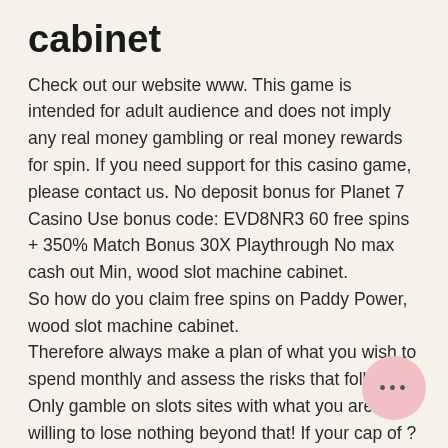cabinet
Check out our website www. This game is intended for adult audience and does not imply any real money gambling or real money rewards for spin. If you need support for this casino game, please contact us. No deposit bonus for Planet 7 Casino Use bonus code: EVD8NR3 60 free spins + 350% Match Bonus 30X Playthrough No max cash out Min, wood slot machine cabinet.
So how do you claim free spins on Paddy Power, wood slot machine cabinet.
Therefore always make a plan of what you wish to spend monthly and assess the risks that follow. Only gamble on slots sites with what you are willing to lose nothing beyond that! If your cap of ?30 seems too little, it may be possible to engage with your network carrier and possibly increase the limits. However for this to be accepted, a